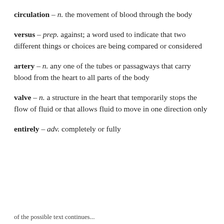circulation – n. the movement of blood through the body
versus – prep. against; a word used to indicate that two different things or choices are being compared or considered
artery – n. any one of the tubes or passagways that carry blood from the heart to all parts of the body
valve – n. a structure in the heart that temporarily stops the flow of fluid or that allows fluid to move in one direction only
entirely – adv. completely or fully
of the possible text continues...